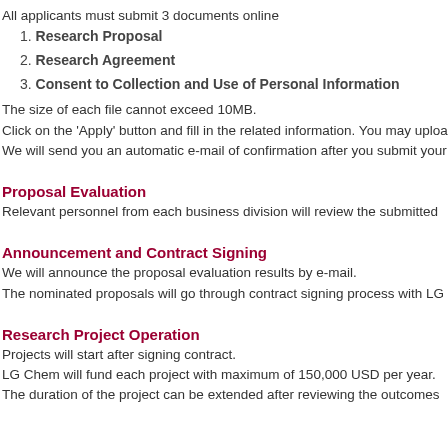All applicants must submit 3 documents online
1. Research Proposal
2. Research Agreement
3. Consent to Collection and Use of Personal Information
The size of each file cannot exceed 10MB.
Click on the ‘Apply’ button and fill in the related information. You may uploa
We will send you an automatic e-mail of confirmation after you submit your
Proposal Evaluation
Relevant personnel from each business division will review the submitted
Announcement and Contract Signing
We will announce the proposal evaluation results by e-mail.
The nominated proposals will go through contract signing process with LG
Research Project Operation
Projects will start after signing contract.
LG Chem will fund each project with maximum of 150,000 USD per year.
The duration of the project can be extended after reviewing the outcomes